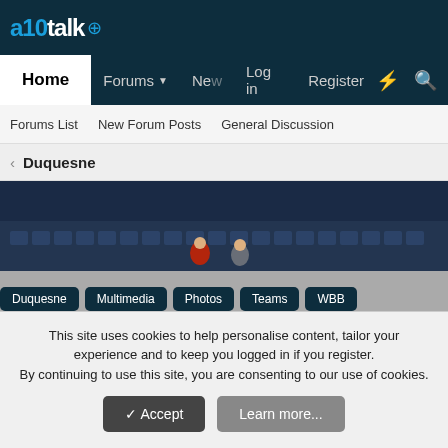a10talk (logo with basketball icon)
Home | Forums | New | Log in | Register
Forums List | New Forum Posts | General Discussion
< Duquesne
[Figure (photo): Sports arena photo with crowd in dark blue seats]
Duquesne | Multimedia | Photos | Teams | WBB
Duquesne women take down
This site uses cookies to help personalise content, tailor your experience and to keep you logged in if you register.
By continuing to use this site, you are consenting to our use of cookies.
✓ Accept | Learn more...